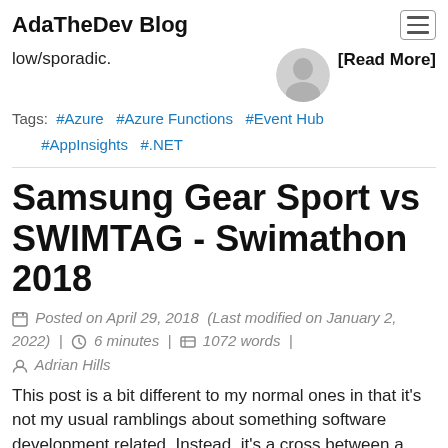AdaTheDev Blog
low/sporadic.
[Read More]
Tags: #Azure  #Azure Functions  #Event Hub  #AppInsights  #.NET
Samsung Gear Sport vs SWIMTAG - Swimathon 2018
Posted on April 29, 2018  (Last modified on January 2, 2022)  |  6 minutes  |  1072 words  |  Adrian Hills
This post is a bit different to my normal ones in that it's not my usual ramblings about something software development related. Instead, it's a cross between a write up of my